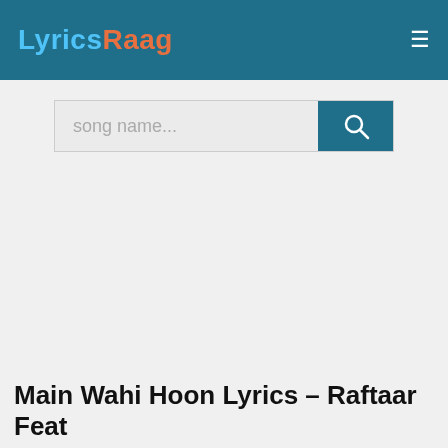LyricsRaag
[Figure (screenshot): Search bar with placeholder text 'song name...' and a teal search button with a magnifying glass icon]
Main Wahi Hoon Lyrics – Raftaar Feat